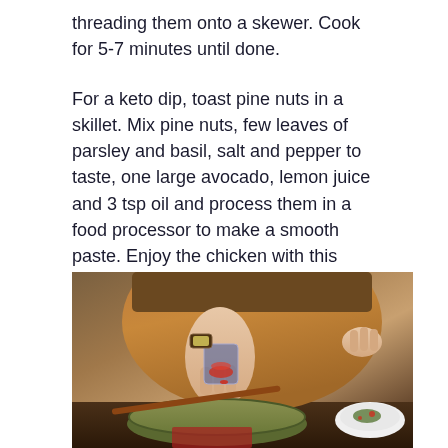threading them onto a skewer. Cook for 5-7 minutes until done.
For a keto dip, toast pine nuts in a skillet. Mix pine nuts, few leaves of parsley and basil, salt and pepper to taste, one large avocado, lemon juice and 3 tsp oil and process them in a food processor to make a smooth paste. Enjoy the chicken with this paste!
[Figure (photo): A person in a brown apron pouring red spice/seasoning from a small glass container over a bowl of green food (guacamole or similar), with chopsticks resting on the bowl and a small white dish visible in the background on a dark wooden table.]